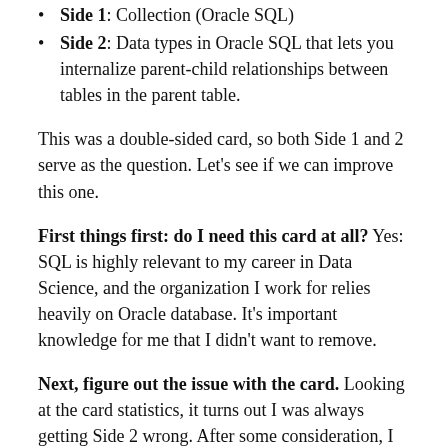Side 1: Collection (Oracle SQL)
Side 2: Data types in Oracle SQL that lets you internalize parent-child relationships between tables in the parent table.
This was a double-sided card, so both Side 1 and 2 serve as the question. Let’s see if we can improve this one.
First things first: do I need this card at all? Yes: SQL is highly relevant to my career in Data Science, and the organization I work for relies heavily on Oracle database. It’s important knowledge for me that I didn’t want to remove.
Next, figure out the issue with the card. Looking at the card statistics, it turns out I was always getting Side 2 wrong. After some consideration, I realized that this is actually a poor definition of a